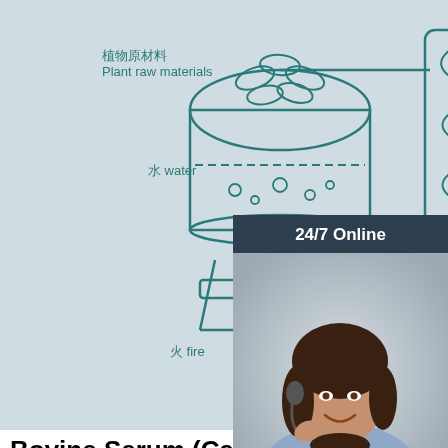[Figure (schematic): Steam distillation diagram showing plant raw materials (植物原材料), water (水 water), fire (火 fire), condenser coil, essential oil (精油 essential oil), and hydrosol (纯露 Hydrosol) collection vessels with Chinese and English labels.]
[Figure (photo): 24/7 Online customer service representative with headset, smiling, with dark panel showing '24/7 Online', 'Click here for free chat!' and orange QUOTATION button.]
Bovine Serum (Calf Serum)
Bovine Serum (Calf Serum) Gibco® bovine (aka calf) serum is collected from prime cattle with an age range of 12-36 months, but typically less than 24 months. All lots are processed and manufactured in New Zealand. Each lot of bovine serum is tested for its ability to support the growth of VERO cells over three subcultures.